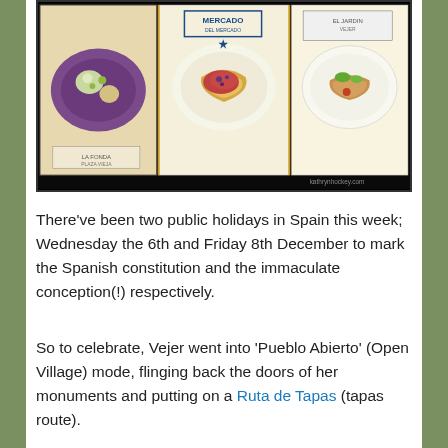[Figure (illustration): Illustrated artwork showing three food dishes in a stamp-like or postcard format with decorative borders. Features colorful illustrations of tapas dishes. Attribution text: kathrynhockey.com]
There've been two public holidays in Spain this week; Wednesday the 6th and Friday 8th December to mark the Spanish constitution and the immaculate conception(!) respectively.
So to celebrate, Vejer went into 'Pueblo Abierto' (Open Village) mode, flinging back the doors of her monuments and putting on a Ruta de Tapas (tapas route).
During the Ruta de Tapas 12 restaurants put up their best little dishes for sale at 3€ (including a drink) and hundreds of people try to taste them all within the 8 hour over 2 days time frame. There's a tapas route map which you need to get stamped in every establishment you eat at – if you get the full set of stamps you can vote for your